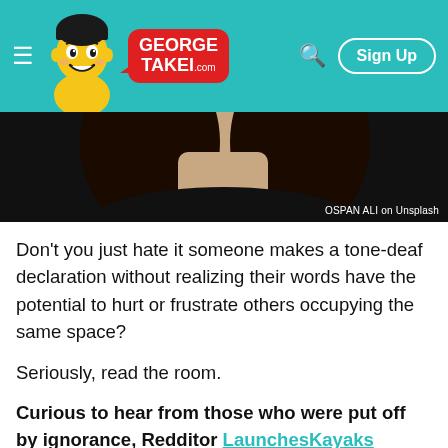GEORGE TAKEI .com — Sign Up
[Figure (photo): Cropped photo of a person's neck/lower face with dark hair, dark top. Credit: OSPAN ALI on Unsplash]
Don't you just hate it someone makes a tone-deaf declaration without realizing their words have the potential to hurt or frustrate others occupying the same space?
Seriously, read the room.
Curious to hear from those who were put off by ignorance, Redditor LaunchesKayaks asked:
"What's the most out of touch thing you've heard a person say?"